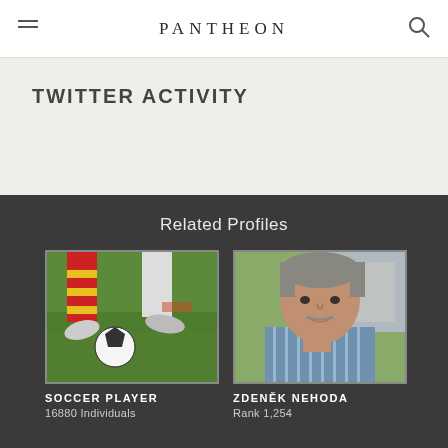PANTHEON
TWITTER ACTIVITY
Related Profiles
[Figure (photo): Soccer player feet with red and yellow striped socks kicking a soccer ball on green grass]
SOCCER PLAYER
16880 Individuals
[Figure (photo): Portrait photo of Zdeněk Nehoda, an older man with grey hair wearing a striped shirt]
ZDENĚK NEHODA
Rank 1,254